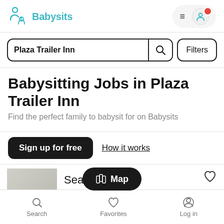Babysits
Plaza Trailer Inn
Filters
Babysitting Jobs in Plaza Trailer Inn
Find the perfect family to babysit for on Babysits
Sign up for free
How it works
Map
Sean
Search  Favorites  Log in